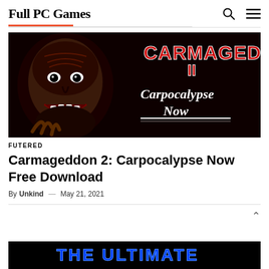Full PC Games
[Figure (photo): Carmageddon 2: Carpocalypse Now game cover art — menacing face with dark red horror makeup on left, large stylized CARMAGEDDON II text with 'Carpocalypse Now' subtitle on right, black background]
FUTERED
Carmageddon 2: Carpocalypse Now Free Download
By Unkind — May 21, 2021
[Figure (photo): Partial bottom image showing 'THE ULTIMATE' text in blue neon style lettering on dark background — partially cropped]